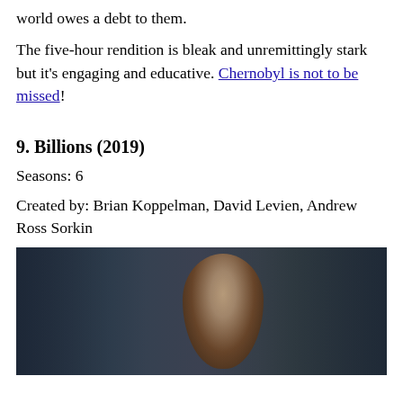world owes a debt to them.
The five-hour rendition is bleak and unremittingly stark but it's engaging and educative. Chernobyl is not to be missed!
9. Billions (2019)
Seasons: 6
Created by: Brian Koppelman, David Levien, Andrew Ross Sorkin
[Figure (photo): A dark indoor scene showing a bald man in what appears to be a dimly lit setting, likely a still from the TV show Billions (2019).]